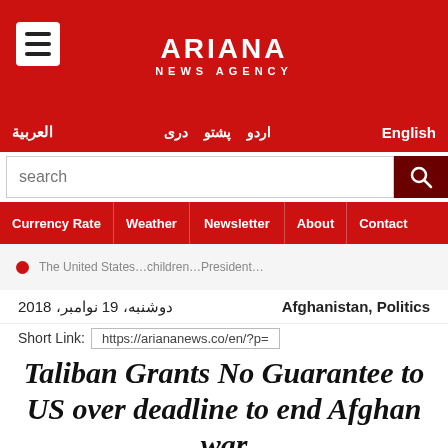ARIANA NEWS AGENCY
العربية   اردو   پشتو   دری   English
search
Currency Rate  Weather  Newsletter  About  Contact
Afghanistan, Politics  دوشنبه، 19 نوامبر، 2018
Short Link: https://ariananews.co/en/?p=
Taliban Grants No Guarantee to US over deadline to end Afghan war